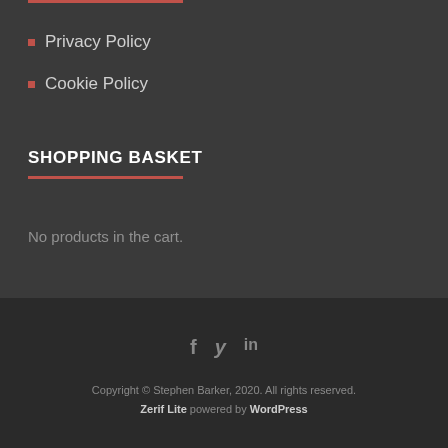Privacy Policy
Cookie Policy
SHOPPING BASKET
No products in the cart.
Copyright © Stephen Barker, 2020. All rights reserved. Zerif Lite powered by WordPress